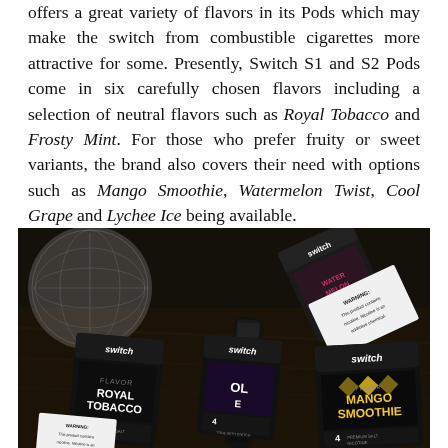offers a great variety of flavors in its Pods which may make the switch from combustible cigarettes more attractive for some. Presently, Switch S1 and S2 Pods come in six carefully chosen flavors including a selection of neutral flavors such as Royal Tobacco and Frosty Mint. For those who prefer fruity or sweet variants, the brand also covers their need with options such as Mango Smoothie, Watermelon Twist, Cool Grape and Lychee Ice being available.
[Figure (photo): Dark product photograph showing multiple Switch vape pod packages arranged on a dark wooden surface alongside a microphone ball. Visible flavors include Royal Tobacco (black packaging), Cool Grape (partially visible), and Mango Smoothie (black/yellow packaging). A warning label is visible on one package. The 'switch' brand logo appears on multiple packages.]